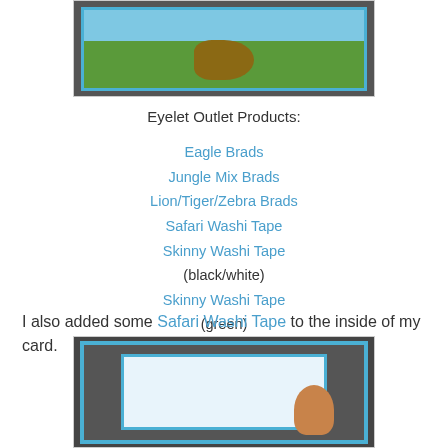[Figure (photo): Top portion of a card craft project showing an animal scene with blue sky and green ground on a light blue card background, on dark background]
Eyelet Outlet Products:
Eagle Brads
Jungle Mix Brads
Lion/Tiger/Zebra Brads
Safari Washi Tape
Skinny Washi Tape (black/white)
Skinny Washi Tape (green)
I also added some Safari Washi Tape to the inside of my card.
[Figure (photo): Photo showing hands placing or decorating the inside of a light blue greeting card on a dark background]